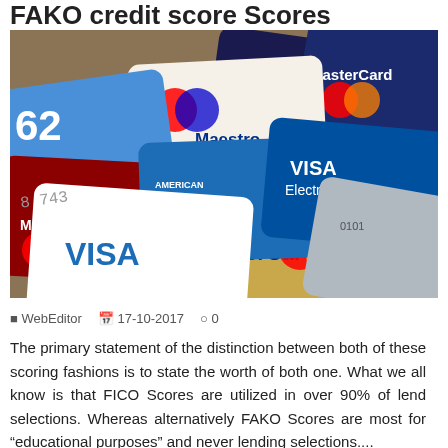FAKO credit score Scores
[Figure (photo): A pile of various credit and debit cards including Visa, MasterCard, Maestro, American Express, and Visa Electron cards scattered on top of each other]
WebEditor   17-10-2017   0
The primary statement of the distinction between both of these scoring fashions is to state the worth of both one. What we all know is that FICO Scores are utilized in over 90% of lend selections. Whereas alternatively FAKO Scores are most for "educational purposes" and never lending selections....